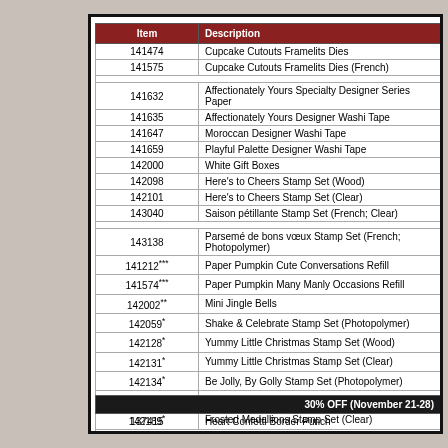| Item | Description |
| --- | --- |
| 141474 | Cupcake Cutouts Framelits Dies |
| 141575 | Cupcake Cutouts Framelits Dies (French) |
| 141632 | Affectionately Yours Specialty Designer Series Paper |
| 141635 | Affectionately Yours Designer Washi Tape |
| 141647 | Moroccan Designer Washi Tape |
| 141659 | Playful Palette Designer Washi Tape |
| 142000 | White Gift Boxes |
| 142098 | Here's to Cheers Stamp Set (Wood) |
| 142101 | Here's to Cheers Stamp Set (Clear) |
| 143040 | Saison pétillante Stamp Set (French; Clear) |
| 143138 | Parsemé de bons vœux Stamp Set (French; Photopolymer) |
| 141212*** | Paper Pumpkin Cute Conversations Refill |
| 141574*** | Paper Pumpkin Many Manly Occasions Refill |
| 142002** | Mini Jingle Bells |
| 142059* | Shake & Celebrate Stamp Set (Photopolymer) |
| 142128* | Yummy Little Christmas Stamp Set (Wood) |
| 142131* | Yummy Little Christmas Stamp Set (Clear) |
| 142134* | Be Jolly, By Golly Stamp Set (Photopolymer) |
| 142186* | Frosted Medallions Stamp Set (Wood) |
| 142189* | Frosted Medallions Stamp Set (Clear) |
| 143022* | Affaire de conifères Stamp Set (French; Photopolymer) |
| 143026* | Médaillons glacés Stamp Set (French; clear) |
| 141488 | Bunch of Banners Framelits Dies |
| 30% OFF (November 21-28) |
| --- |
| 137415 | Heart Confetti Border Punch |